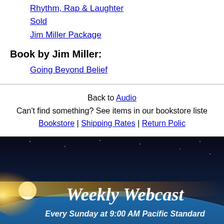Rhythm, Rap & Laughter
Sold
Jim Miller Package
Book by Jim Miller:
Going Beyond Belief
Back to Audio
Can't find something? See items in our bookstore listed alphabetically:
Bookstore | Shipping Rates | Return Policy
[Figure (illustration): Banner image showing Earth from space with sunlight on the horizon and text 'Weekly Webcast' and 'Every Sunday at 9:00 AM Pacific Standard']